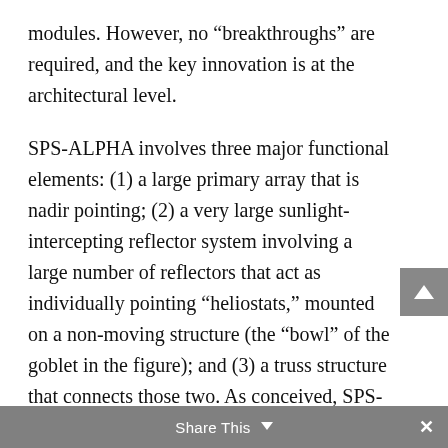modules. However, no “breakthroughs” are required, and the key innovation is at the architectural level.
SPS-ALPHA involves three major functional elements: (1) a large primary array that is nadir pointing; (2) a very large sunlight-intercepting reflector system involving a large number of reflectors that act as individually pointing “heliostats,” mounted on a non-moving structure (the “bowl” of the goblet in the figure); and (3) a truss structure that connects those two. As conceived, SPS-ALPHA is not a traditional three-axis stabilized satellite with one or more solar
Share This ∨